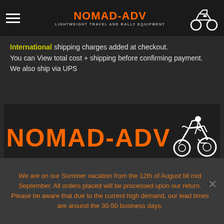NOMAD-ADV — LIGHTWEIGHT TRAVEL AND RALLY EQUIPMENT
International shipping charges added at checkout. You can View total cost + shipping before confirming payment. We also ship via UPS
[Figure (logo): NOMAD-ADV large logo with motorcycle illustration and tagline: LIGHTWEIGHT TRAVEL AND RALLY EQUIPMENT]
We are on our Summer vacation from the 12th of August till mid September. All orders placed will be processed upon our return. Please be aware that due to the current high demand, our lead times are around the 30-50 business days.